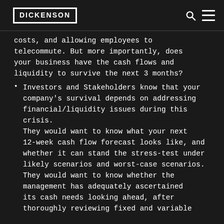DICKENSON
costs, and allowing employees to telecommute. But more importantly, does your business have the cash flows and liquidity to survive the next 3 months?
Investors and Stakeholders know that your company's survival depends on addressing financial/liquidity issues during this crisis. They would want to know what your next 12-week cash flow forecast looks like, and whether it can stand the stress-test under likely scenarios and worst-case scenarios. They would want to know whether the management has adequately ascertained its cash needs looking ahead, after thoroughly reviewing fixed and variable